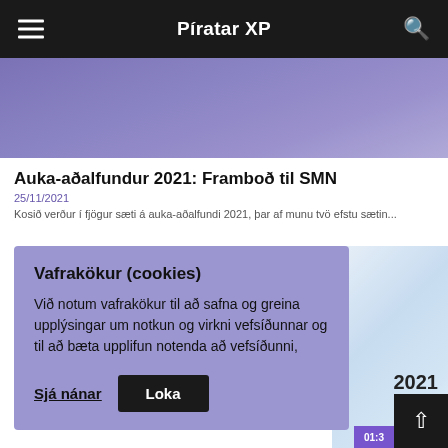Píratar XP
[Figure (photo): Purple/violet gradient hero image strip at top of article card]
Auka-aðalfundur 2021: Framboð til SMN
25/11/2021
Kosið verður í fjögur sæti á auka-aðalfundi 2021, þar af munu tvö efstu sætin...
[Figure (screenshot): Cookie consent dialog overlay with purple background. Title: Vafrakökur (cookies). Body text about use of cookies. Two buttons: Sjá nánar (underlined) and Loka (black button).]
[Figure (photo): Partially visible second article card with light blue gradient background and year 2021 printed on it]
01:3